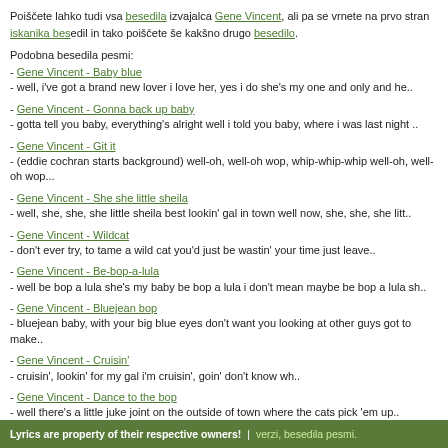Poiščete lahko tudi vsa besedila izvajalca Gene Vincent, ali pa se vrnete na prvo stran iskanika besedil in tako poiščete še kakšno drugo besedilo.
Podobna besedila pesmi:
Gene Vincent - Baby blue
well, i've got a brand new lover i love her, yes i do she's my one and only and he..
Gene Vincent - Gonna back up baby
gotta tell you baby, everything's alright well i told you baby, where i was last night ..
Gene Vincent - Git it
(eddie cochran starts background) well-oh, well-oh wop, whip-whip-whip well-oh, well-oh wop...
Gene Vincent - She she little sheila
well, she, she, she little sheila best lookin' gal in town well now, she, she, she litt..
Gene Vincent - Wildcat
don't ever try, to tame a wild cat you'd just be wastin' your time just leave..
Gene Vincent - Be-bop-a-lula
well be bop a lula she's my baby be bop a lula i don't mean maybe be bop a lula sh..
Gene Vincent - Bluejean bop
bluejean baby, with your big blue eyes don't want you looking at other guys got to make..
Gene Vincent - Cruisin'
cruisin', lookin' for my gal i'm cruisin', goin' don't know wh..
Gene Vincent - Dance to the bop
well there's a little juke joint on the outside of town where the cats pick 'em up..
Gene Vincent - Five days, five days
(one day, two days, three, four, five) a-that's how long that she's been gone and ..
Lyrics are property of their respective owners! | verzi, besedila pesmi.